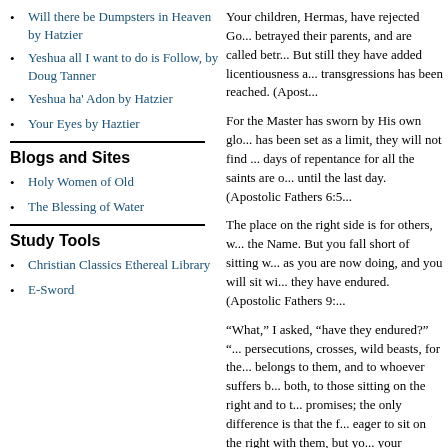Will there be Dumpsters in Heaven by Hatzier
Yeshua all I want to do is Follow, by Doug Tanner
Yeshua ha' Adon by Hatzier
Your Eyes by Haztier
Blogs and Sites
Holy Women of Old
The Blessing of Water
Study Tools
Christian Classics Ethereal Library
E-Sword
Your children, Hermas, have rejected God, betrayed their parents, and are called betr... But still they have added licentiousness a... transgressions has been reached.  (Apost...
For the Master has sworn by His own glo... has been set as a limit, they will not find ... days of repentance for all the saints are o... until the last day.  (Apostolic Fathers 6:5...
The place on the right side is for others, w... the Name.  But you fall short of sitting w... as you are now doing, and you will sit wi... they have endured.  (Apostolic Fathers 9:...
“What,” I asked, “have they endured?” “... persecutions, crosses, wild beasts, for the... belongs to them, and to whoever suffers b... both, to those sitting on the right and to t... promises; the only difference is that the f... eager to sit on the right with them, but yo... your shortcomings; indeed, all those who... day.”  (Apostolic Fathers 10-1-2)